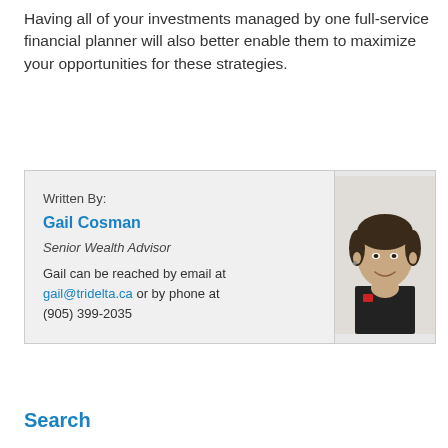Having all of your investments managed by one full-service financial planner will also better enable them to maximize your opportunities for these strategies.
Written By: Gail Cosman
Senior Wealth Advisor
Gail can be reached by email at gail@tridelta.ca or by phone at (905) 399-2035
[Figure (photo): Portrait photo of Gail Cosman, Senior Wealth Advisor, woman with short dark hair, smiling, wearing dark top with red accent]
Search